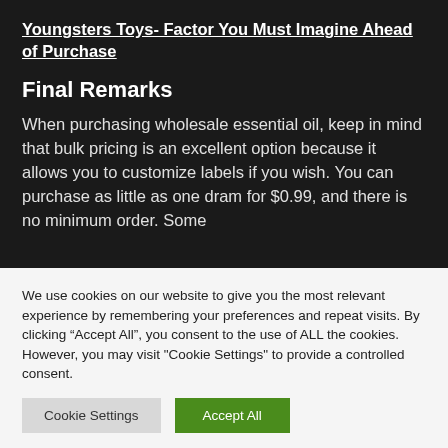Youngsters Toys- Factor You Must Imagine Ahead of Purchase
Final Remarks
When purchasing wholesale essential oil, keep in mind that bulk pricing is an excellent option because it allows you to customize labels if you wish. You can purchase as little as one dram for $0.99, and there is no minimum order. Some
We use cookies on our website to give you the most relevant experience by remembering your preferences and repeat visits. By clicking “Accept All”, you consent to the use of ALL the cookies. However, you may visit "Cookie Settings" to provide a controlled consent.
Cookie Settings    Accept All